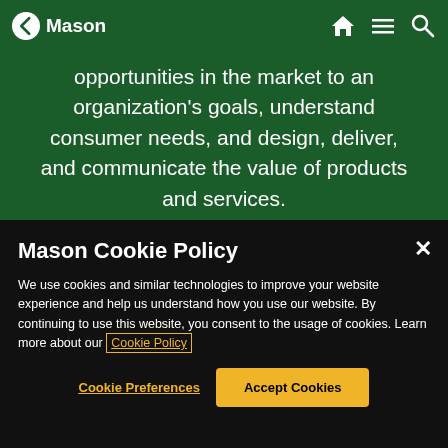Mason
opportunities in the market to an organization's goals, understand consumer needs, and design, deliver, and communicate the value of products and services.
[Figure (screenshot): Yellow section with black circle at top, part of a university webpage]
Mason Cookie Policy
We use cookies and similar technologies to improve your website experience and help us understand how you use our website. By continuing to use this website, you consent to the usage of cookies. Learn more about our Cookie Policy
Cookie Preferences
Accept Cookies